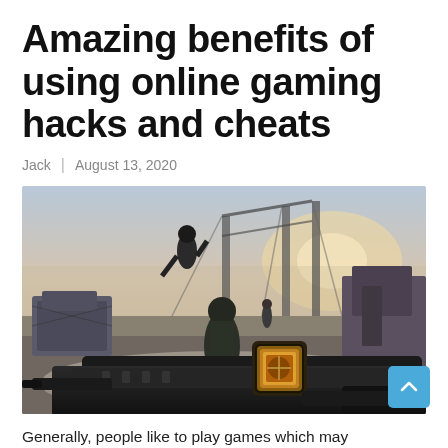Amazing benefits of using online gaming hacks and cheats
Jack | August 13, 2020
[Figure (photo): First-person shooter video game screenshot showing a player character holding a weapon with a glowing orange sight, running across a military-style combat zone with soldiers, machinery, and a bridge structure in the background under a dramatic sky.]
Generally, people like to play games which may